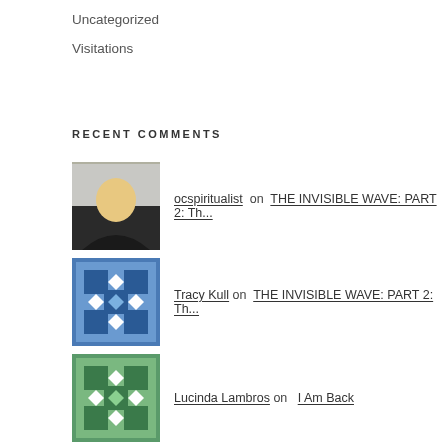Uncategorized
Visitations
RECENT COMMENTS
ocspiritualist on THE INVISIBLE WAVE: PART 2: Th...
Tracy Kull on THE INVISIBLE WAVE: PART 2: Th...
Lucinda Lambros on I Am Back
ocspiritualist on I Am Back
Kim Martinez on I Am Back